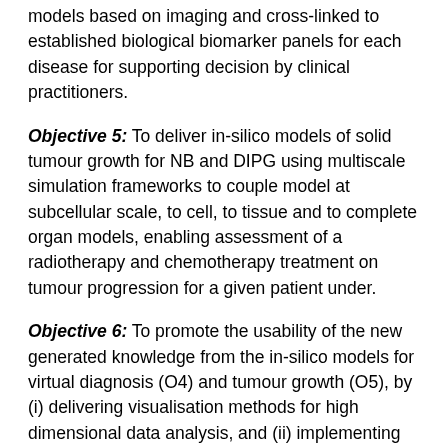models based on imaging and cross-linked to established biological biomarker panels for each disease for supporting decision by clinical practitioners.
Objective 5: To deliver in-silico models of solid tumour growth for NB and DIPG using multiscale simulation frameworks to couple model at subcellular scale, to cell, to tissue and to complete organ models, enabling assessment of a radiotherapy and chemotherapy treatment on tumour progression for a given patient under.
Objective 6: To promote the usability of the new generated knowledge from the in-silico models for virtual diagnosis (O4) and tumour growth (O5), by (i) delivering visualisation methods for high dimensional data analysis, and (ii) implementing Artificial Intelligence methodologies to generate responses to the most relevant 5 Clinical End Points for NB and DIPG.